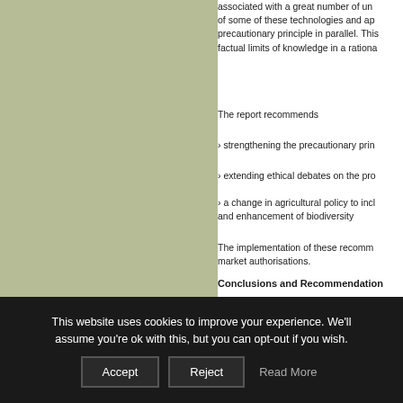[Figure (other): Solid sage/olive green rectangular panel on the left side of the page]
associated with a great number of uncertainties. Some of some of these technologies and applications invoke the precautionary principle in parallel. This raises important factual limits of knowledge in a rational...
The report recommends
› strengthening the precautionary prin...
› extending ethical debates on the pro...
› a change in agricultural policy to incl... and enhancement of biodiversity
The implementation of these recomm... market authorisations.
Conclusions and Recommendation...
This report shows that genetically eng... and future developments. Some of the...
› an increasing number of combination...
This website uses cookies to improve your experience. We'll assume you're ok with this, but you can opt-out if you wish.